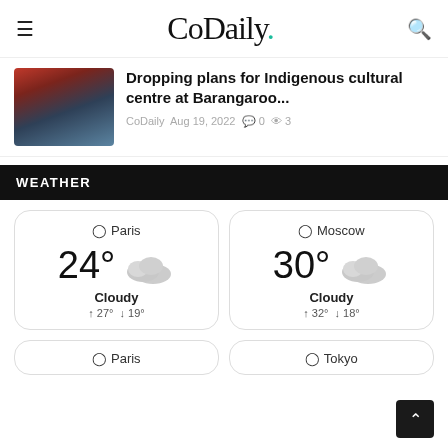CoDaily.
Dropping plans for Indigenous cultural centre at Barangaroo... CoDaily Aug 19, 2022 0 3
WEATHER
Paris 24° Cloudy ↑ 27° ↓ 19°
Moscow 30° Cloudy ↑ 32° ↓ 18°
Paris
Tokyo